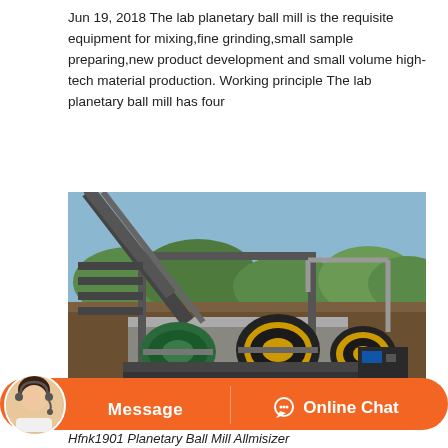Jun 19, 2018 The lab planetary ball mill is the requisite equipment for mixing,fine grinding,small sample preparing,new product development and small volume high-tech material production. Working principle The lab planetary ball mill has four
[Figure (photo): Photograph of an industrial ball mill facility outdoors, showing large cylindrical grinding drums (one green, two yellow/black) mounted on a heavy steel frame structure, with a conveyor belt in the background and hills with trees visible. A 'TOP' navigation button overlay is visible in the upper right of the image.]
[Figure (other): Orange bottom navigation bar with a customer service avatar on the left, 'Message' button in the center-left, and 'Online Chat' button with headset icon on the right.]
Hfnk1901 Planetary Ball Mill Allmisizer